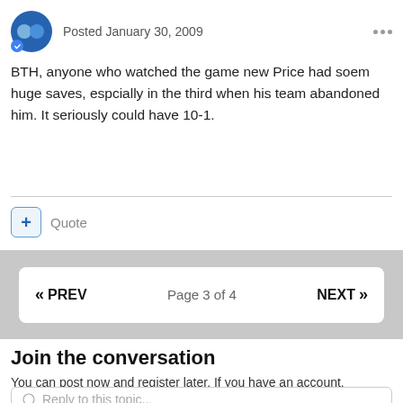Posted January 30, 2009
BTH, anyone who watched the game new Price had soem huge saves, espcially in the third when his team abandoned him. It seriously could have 10-1.
Quote
« PREV   Page 3 of 4   NEXT »
Join the conversation
You can post now and register later. If you have an account, sign in now to post with your account.
Reply to this topic...